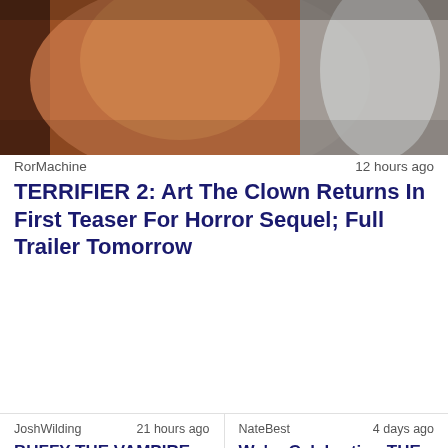[Figure (photo): Blurred close-up image of a person in costume, warm/orange tones with blurred figure in white clothing in background]
RorMachine   12 hours ago
TERRIFIER 2: Art The Clown Returns In First Teaser For Horror Sequel; Full Trailer Tomorrow
JoshWilding   21 hours ago
BUFFY THE VAMPIRE SLAYER Reboot With A Black Lead Has Seemingly Been Scrapped
NateBest   4 days ago
We're Celebrating THE BLACK PHONE'S Digital And Blu-ray Release With A Giveaway